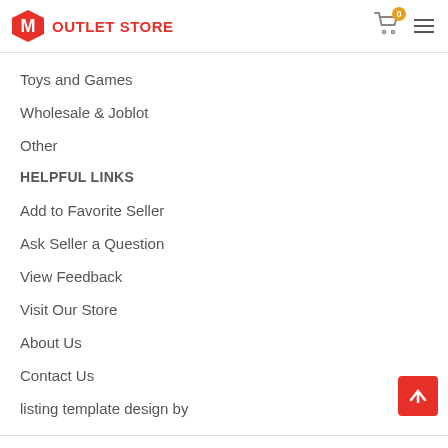OUTLET STORE
Toys and Games
Wholesale & Joblot
Other
HELPFUL LINKS
Add to Favorite Seller
Ask Seller a Question
View Feedback
Visit Our Store
About Us
Contact Us
listing template design by
Related Set Of Two Rectangular Metal Wire Smart